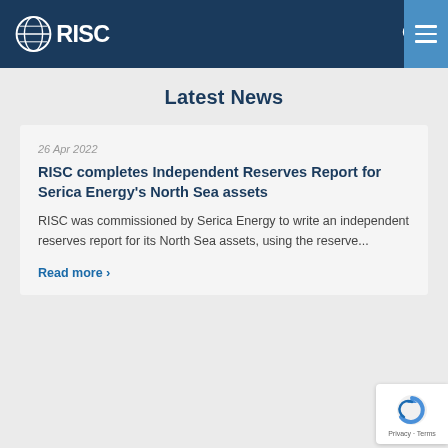RISC
Latest News
26 Apr 2022
RISC completes Independent Reserves Report for Serica Energy's North Sea assets
RISC was commissioned by Serica Energy to write an independent reserves report for its North Sea assets, using the reserve...
Read more >